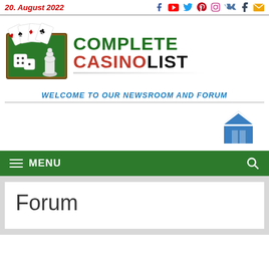20. August 2022
[Figure (logo): Complete CasinoList logo with playing cards and chess piece on green felt background]
Complete CasinoList
WELCOME TO OUR NEWSROOM AND FORUM
[Figure (illustration): Blue house/home icon]
MENU
Forum